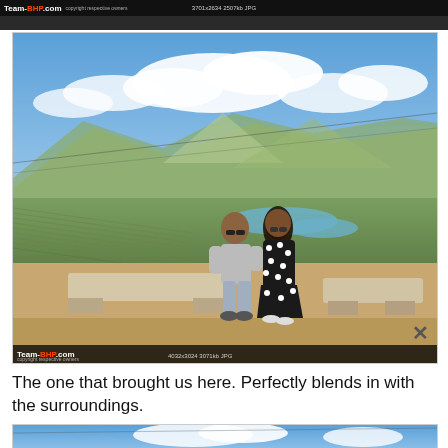[Figure (photo): Cropped top of a photo with Team-BHP.com watermark bar and file info text '3701x2634 2507kb JPG']
[Figure (photo): A couple sitting on a stone bench at a scenic viewpoint with tea plantations, a lake, and mountains in the background under a blue sky with clouds. Team-BHP.com watermark at bottom. File info '4032x3024 3071kb JPG'. X button visible bottom right.]
The one that brought us here. Perfectly blends in with the surroundings.
[Figure (photo): Partially visible bottom photo showing top portion with blue sky and clouds, Team-BHP.com watermark style.]